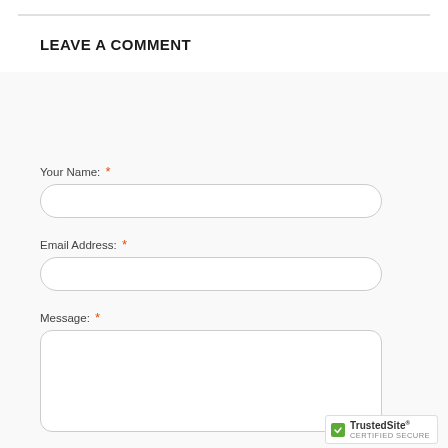LEAVE A COMMENT
Your Name: *
Email Address: *
Message: *
[Figure (screenshot): TrustedSite certified secure badge with green checkmark]